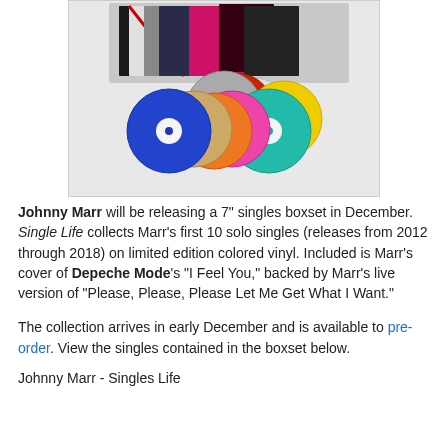[Figure (photo): Photo of a 7-inch singles boxset showing multiple colored vinyl records fanned out in various colors including blue, gold, orange, white, pink, teal, yellow, red, and clear, along with album artwork sleeves arranged behind them.]
Johnny Marr will be releasing a 7" singles boxset in December. Single Life collects Marr's first 10 solo singles (releases from 2012 through 2018) on limited edition colored vinyl. Included is Marr's cover of Depeche Mode's "I Feel You," backed by Marr's live version of "Please, Please, Please Let Me Get What I Want."
The collection arrives in early December and is available to pre-order. View the singles contained in the boxset below.
Johnny Marr - Singles Life